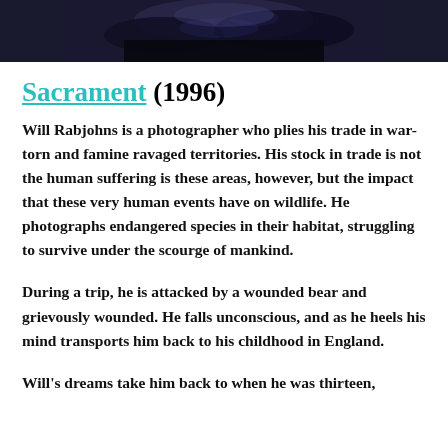[Figure (photo): A dark photographic image, appears to be a close-up of an animal or nature scene with dark blue/black tones, partially cropped at top of page.]
Sacrament (1996)
Will Rabjohns is a photographer who plies his trade in war-torn and famine ravaged territories. His stock in trade is not the human suffering is these areas, however, but the impact that these very human events have on wildlife. He photographs endangered species in their habitat, struggling to survive under the scourge of mankind.
During a trip, he is attacked by a wounded bear and grievously wounded. He falls unconscious, and as he heels his mind transports him back to his childhood in England.
Will's dreams take him back to when he was thirteen,